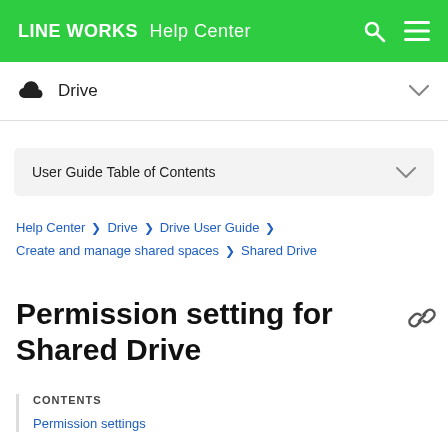LINE WORKS Help Center
Drive
User Guide Table of Contents
Help Center > Drive > Drive User Guide > Create and manage shared spaces > Shared Drive
Permission setting for Shared Drive
CONTENTS
Permission settings